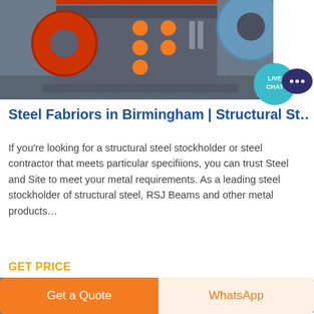[Figure (photo): Industrial steel fabrication machine — large grey metal machine with orange circular elements/studs and orange flywheel, photographed in a factory/warehouse setting]
[Figure (illustration): Live Chat speech bubble icon: teal/cyan circle with 'LIVE CHAT' text and dark blue speech bubble icon]
Steel Fabriors in Birmingham | Structural St…
If you're looking for a structural steel stockholder or steel contractor that meets particular specifiions, you can trust Steel and Site to meet your metal requirements. As a leading steel stockholder of structural steel, RSJ Beams and other metal products…
GET PRICE
[Figure (photo): Partial view of a steel warehouse/factory interior with structural steel stored inside]
Get a Quote
WhatsApp